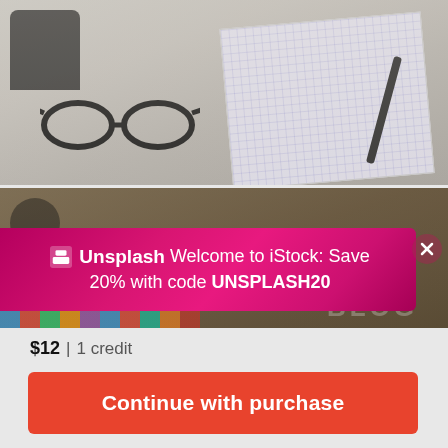[Figure (photo): Desk flatlay with glasses, grid notebook, pen, and black stapler on wooden surface]
[Figure (photo): Desk flatlay with scissors, colored pencils, notebook and blog letters on wooden surface]
Unsplash Welcome to iStock: Save 20% with code UNSPLASH20
$12 | 1 credit
Continue with purchase